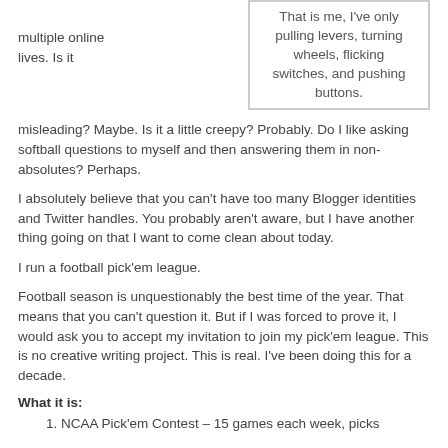multiple online lives. Is it misleading? Maybe. Is it a little creepy? Probably. Do I like asking softball questions to myself and then answering them in non-absolutes? Perhaps.
That is me, I've only pulling levers, turning wheels, flicking switches, and pushing buttons.
I absolutely believe that you can't have too many Blogger identities and Twitter handles. You probably aren't aware, but I have another thing going on that I want to come clean about today.
I run a football pick'em league.
Football season is unquestionably the best time of the year. That means that you can't question it. But if I was forced to prove it, I would ask you to accept my invitation to join my pick'em league. This is no creative writing project. This is real. I've been doing this for a decade.
What it is:
1. NCAA Pick'em Contest – 15 games each week, picks